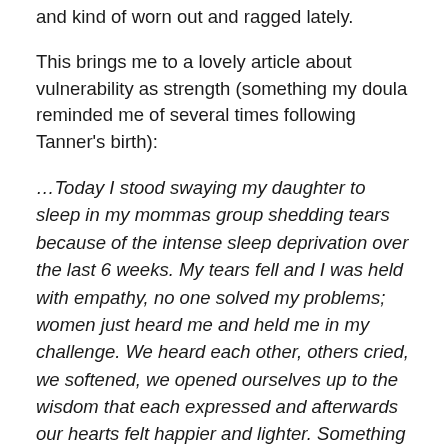and kind of worn out and ragged lately.
This brings me to a lovely article about vulnerability as strength (something my doula reminded me of several times following Tanner's birth):
…Today I stood swaying my daughter to sleep in my mommas group shedding tears because of the intense sleep deprivation over the last 6 weeks. My tears fell and I was held with empathy, no one solved my problems; women just heard me and held me in my challenge. We heard each other, others cried, we softened, we opened ourselves up to the wisdom that each expressed and afterwards our hearts felt happier and lighter. Something sacred unfolded. I was in a container that was safe to share my soul, to be naked in front of these women, to admit I was not perfect and I didn't have all the answers.